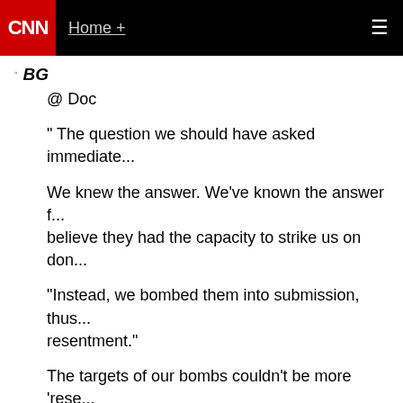CNN Home +
BG
@ Doc

" The question we should have asked immediate...

We knew the answer. We've known the answer f... believe they had the capacity to strike us on don...

"Instead, we bombed them into submission, thus... resentment."

The targets of our bombs couldn't be more 'rese... all this started. btw, precision targeting isn't exac... collateral damage is what happens when caches... among civilians.

I thought you were smarter than this. I really did.
September 7, 2011 at 12:07 pm |
WIlliam Demuth